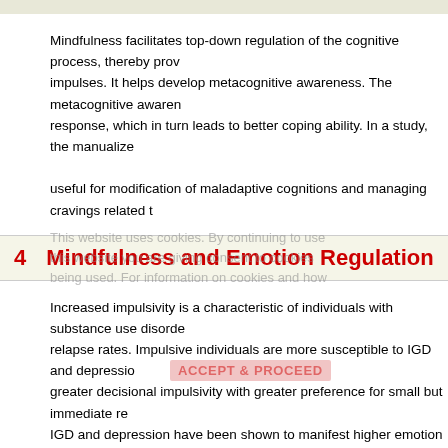Mindfulness facilitates top-down regulation of the cognitive process, thereby providing a mechanism for impulses. It helps develop metacognitive awareness. The metacognitive awareness helps in response, which in turn leads to better coping ability. In a study, the manualized useful for modification of maladaptive cognitions and managing cravings related t
4   Mindfulness and Emotion Regulation
Increased impulsivity is a characteristic of individuals with substance use disorde relapse rates. Impulsive individuals are more susceptible to IGD and depressio greater decisional impulsivity with greater preference for small but immediate re IGD and depression have been shown to manifest higher emotion regulation (ER It was observed that such individuals use Internet gaming as a maladaptive E individuals also report difficulty in being in the present moment.[11] The mindfu control, attention regulation, and working memory. All these factors influence "receptive meditation," where the individual focuses on one's experiences from n self-regulation.[25] Similarly, heightened levels of decisional impulsivity observed mindfulness-based therapy. Further, decreased inter-temporal decisional impulsi severity.[12]